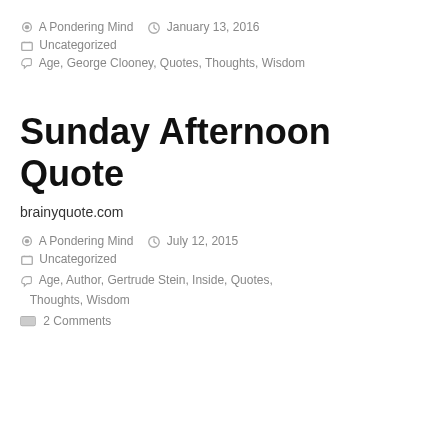A Pondering Mind  January 13, 2016
Uncategorized
Age, George Clooney, Quotes, Thoughts, Wisdom
Sunday Afternoon Quote
brainyquote.com
A Pondering Mind  July 12, 2015
Uncategorized
Age, Author, Gertrude Stein, Inside, Quotes, Thoughts, Wisdom
2 Comments